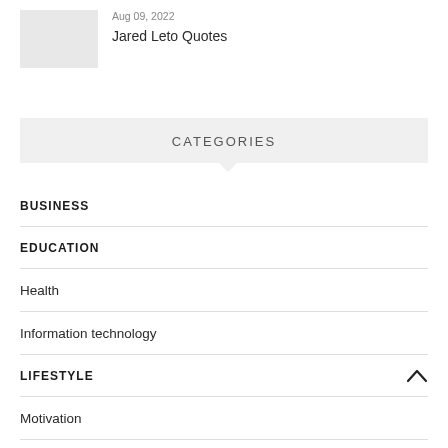Aug 09, 2022
Jared Leto Quotes
CATEGORIES
BUSINESS
EDUCATION
Health
Information technology
LIFESTYLE
Motivation